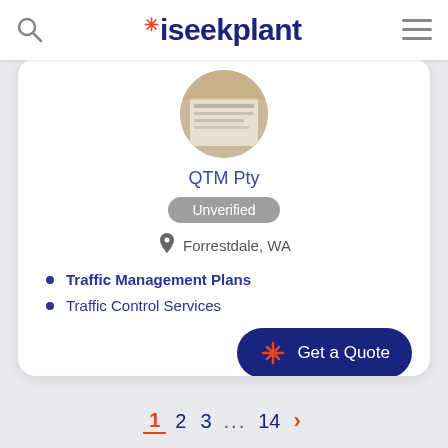iseekplant
[Figure (photo): Circular profile photo of QTM Pty showing what appears to be printed documents/plans]
QTM Pty
Unverified
Forrestdale, WA
Traffic Management Plans
Traffic Control Services
Get a Quote
1 2 3 ... 14 >